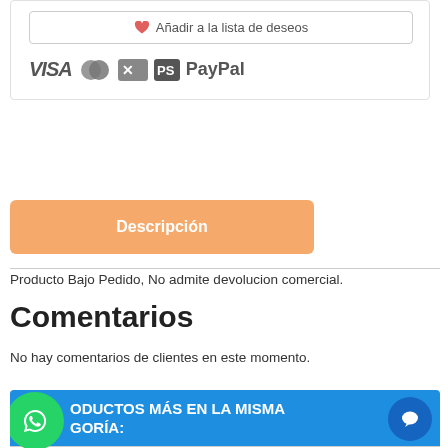♥ Añadir a la lista de deseos
[Figure (logo): Payment method logos: VISA, MasterCard, American Express, PS logo, PayPal]
Descripción
Producto Bajo Pedido, No admite devolucion comercial.
Comentarios
No hay comentarios de clientes en este momento.
ODUCTOS MÁS EN LA MISMA GORÍA: